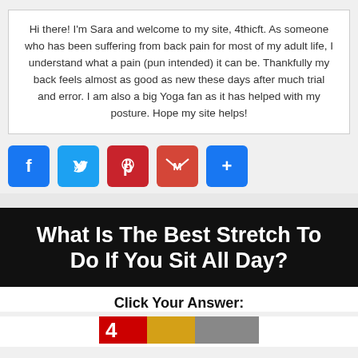Hi there! I'm Sara and welcome to my site, 4thicft. As someone who has been suffering from back pain for most of my adult life, I understand what a pain (pun intended) it can be. Thankfully my back feels almost as good as new these days after much trial and error. I am also a big Yoga fan as it has helped with my posture. Hope my site helps!
[Figure (infographic): Social share buttons: Facebook (blue), Twitter (light blue), Pinterest (red), Gmail (red/orange), More/Plus (blue)]
What Is The Best Stretch To Do If You Sit All Day?
Click Your Answer:
[Figure (photo): Quiz answer image strip showing the letter A on a red background followed by yoga/stretch images]